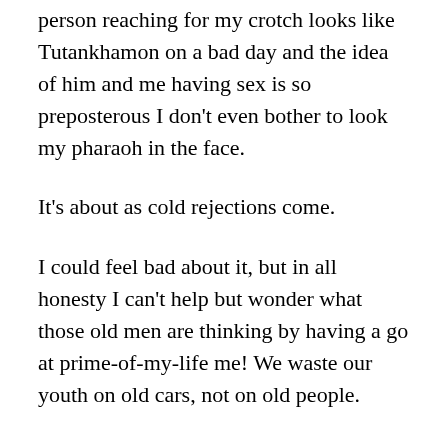person reaching for my crotch looks like Tutankhamon on a bad day and the idea of him and me having sex is so preposterous I don't even bother to look my pharaoh in the face.
It's about as cold rejections come.
I could feel bad about it, but in all honesty I can't help but wonder what those old men are thinking by having a go at prime-of-my-life me! We waste our youth on old cars, not on old people.
Yet each time I ignore a horny mummy as one would I realize that one day, in the less and less distant future, I too will become old. One day,